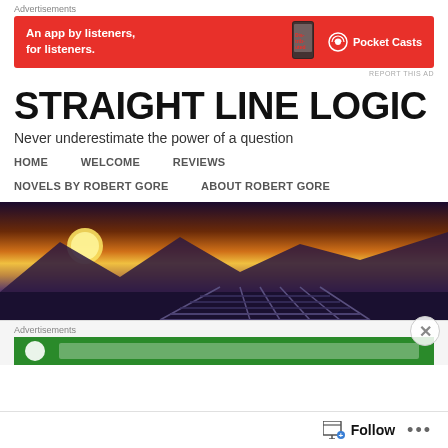Advertisements
[Figure (other): Pocket Casts advertisement banner: red background with text 'An app by listeners, for listeners.' and Pocket Casts logo with podcast app icon on a phone.]
REPORT THIS AD
STRAIGHT LINE LOGIC
Never underestimate the power of a question
HOME
WELCOME
REVIEWS
NOVELS BY ROBERT GORE
ABOUT ROBERT GORE
[Figure (photo): Sunset landscape photo showing a dramatic orange and golden sky over silhouetted mountains with what appears to be a bridge or railway infrastructure in the foreground.]
Advertisements
[Figure (other): Green advertisement banner partially visible at bottom of page.]
Follow